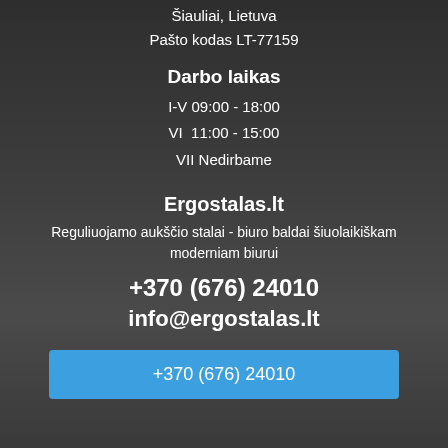Šiauliai, Lietuva
Pašto kodas LT-77159
Darbo laikas
I-V 09:00 - 18:00
VI  11:00 - 15:00
VII Nedirbame
Ergostalas.lt
Reguliuojamo aukščio stalai - biuro baldai šiuolaikiškam moderniam biurui
+370 (676) 24010
info@ergostalas.lt
+370 (676) 24010